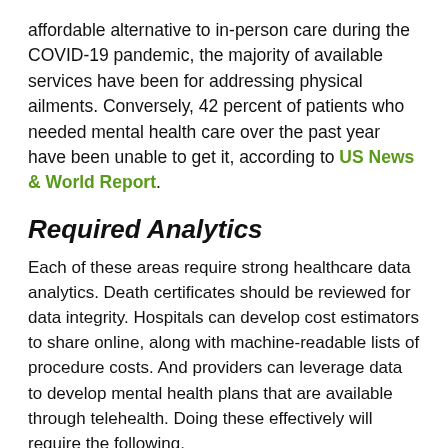affordable alternative to in-person care during the COVID-19 pandemic, the majority of available services have been for addressing physical ailments. Conversely, 42 percent of patients who needed mental health care over the past year have been unable to get it, according to US News & World Report.
Required Analytics
Each of these areas require strong healthcare data analytics. Death certificates should be reviewed for data integrity. Hospitals can develop cost estimators to share online, along with machine-readable lists of procedure costs. And providers can leverage data to develop mental health plans that are available through telehealth. Doing these effectively will require the following.
Auditing. Auditing your medical records can identify inaccuracies by comparing reported data against information from EMRs and billing codes. This can also